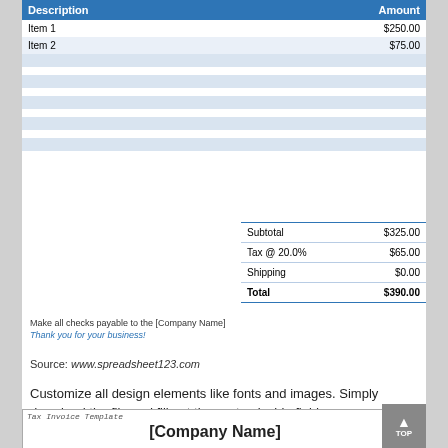| Description | Amount |
| --- | --- |
| Item 1 | $250.00 |
| Item 2 | $75.00 |
|  |  |
|  |  |
|  |  |
|  |  |
|  |  |
|  |  |
| Subtotal | $325.00 |
| Tax @ 20.0% | $65.00 |
| Shipping | $0.00 |
| Total | $390.00 |
Make all checks payable to the [Company Name]
Thank you for your business!
Source: www.spreadsheet123.com
Customize all design elements like fonts and images. Simply download the file and fill out the customizable fields.
Tax Invoice Template  [Company Name]